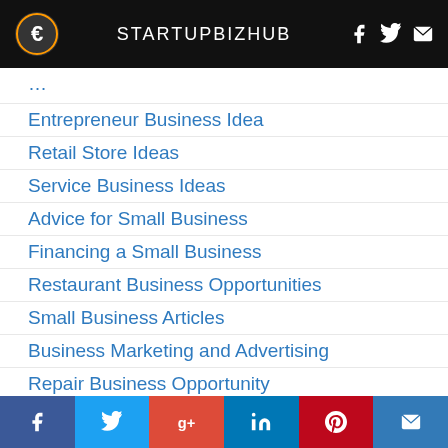STARTUPBIZHUB
Entrepreneur Business Idea
Retail Store Ideas
Service Business Ideas
Advice for Small Business
Financing a Small Business
Restaurant Business Opportunities
Small Business Articles
Business Marketing and Advertising
Repair Business Opportunity
Professional Career Opportunities
Business Insurance Information
Instructor Guides
Social share bar: Facebook, Twitter, Google+, LinkedIn, Pinterest, Email